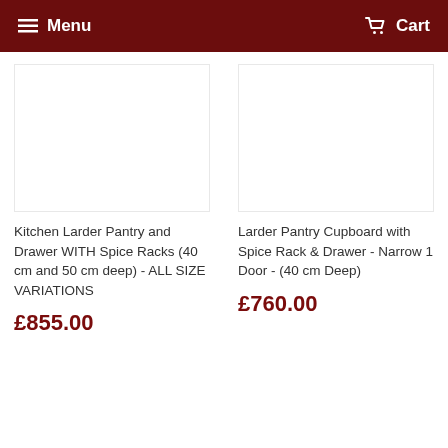Menu  Cart
[Figure (other): Blank white product image placeholder for Kitchen Larder Pantry product]
Kitchen Larder Pantry and Drawer WITH Spice Racks (40 cm and 50 cm deep) - ALL SIZE VARIATIONS
£855.00
[Figure (other): Blank white product image placeholder for Larder Pantry Cupboard product]
Larder Pantry Cupboard with Spice Rack & Drawer - Narrow 1 Door - (40 cm Deep)
£760.00